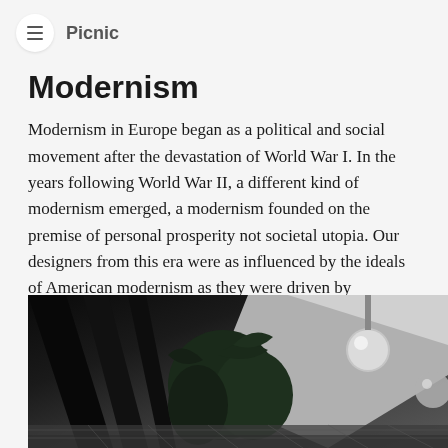≡  Picnic
Modernism
Modernism in Europe began as a political and social movement after the devastation of World War I. In the years following World War II, a different kind of modernism emerged, a modernism founded on the premise of personal prosperity not societal utopia. Our designers from this era were as influenced by the ideals of American modernism as they were driven by individual vision.
[Figure (photo): Black and white interior architectural photograph showing diagonal structural beams, tropical plants, and round globe light fixtures in a modernist interior space.]